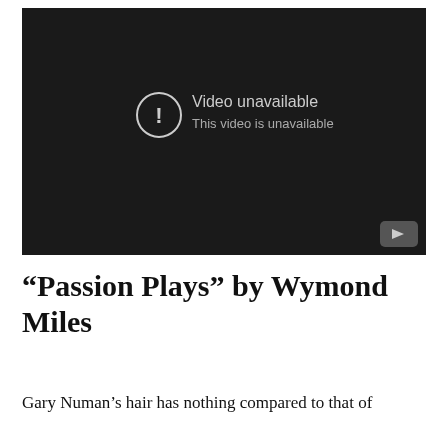[Figure (screenshot): YouTube video player showing 'Video unavailable' error message on a dark background. Center-left shows a circle with exclamation mark icon, followed by text 'Video unavailable' and 'This video is unavailable'. Bottom-right corner shows a YouTube play button icon.]
“Passion Plays” by Wymond Miles
Gary Numan’s hair has nothing compared to that of